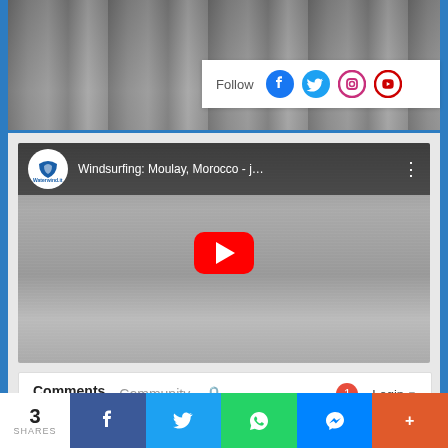[Figure (photo): Grayscale photo of ocean waves, top portion of a webpage]
[Figure (screenshot): Follow social media buttons: Facebook, Twitter, Instagram, YouTube]
[Figure (screenshot): YouTube embedded video: Windsurfing: Moulay, Morocco - j... with play button, Waterwind.it channel logo]
Comments
Community
Login
Favorite
Sort by Newest
[Figure (screenshot): Bottom social share bar with 3 SHARES, Facebook, Twitter, WhatsApp, Messenger, and plus buttons]